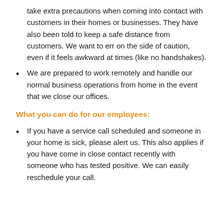take extra precautions when coming into contact with customers in their homes or businesses. They have also been told to keep a safe distance from customers. We want to err on the side of caution, even if it feels awkward at times (like no handshakes).
We are prepared to work remotely and handle our normal business operations from home in the event that we close our offices.
What you can do for our employees:
If you have a service call scheduled and someone in your home is sick, please alert us. This also applies if you have come in close contact recently with someone who has tested positive. We can easily reschedule your call.